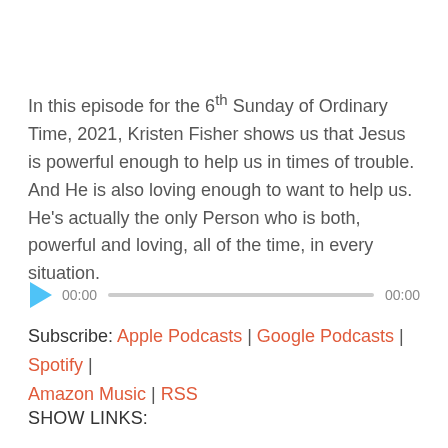In this episode for the 6th Sunday of Ordinary Time, 2021, Kristen Fisher shows us that Jesus is powerful enough to help us in times of trouble. And He is also loving enough to want to help us. He’s actually the only Person who is both, powerful and loving, all of the time, in every situation.
[Figure (other): Audio player with play button, 00:00 timestamp, progress bar, and 00:00 end timestamp]
Subscribe: Apple Podcasts | Google Podcasts | Spotify | Amazon Music | RSS
SHOW LINKS: